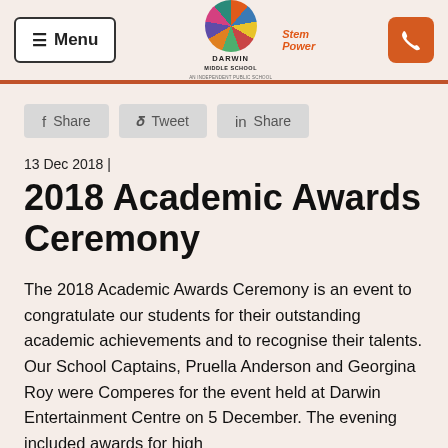Darwin Middle School – An Independent Public School | STEM Powered
f Share   Twitter Tweet   in Share
13 Dec 2018 |
2018 Academic Awards Ceremony
The 2018 Academic Awards Ceremony is an event to congratulate our students for their outstanding academic achievements and to recognise their talents. Our School Captains, Pruella Anderson and Georgina Roy were Comperes for the event held at Darwin Entertainment Centre on 5 December. The evening included awards for high